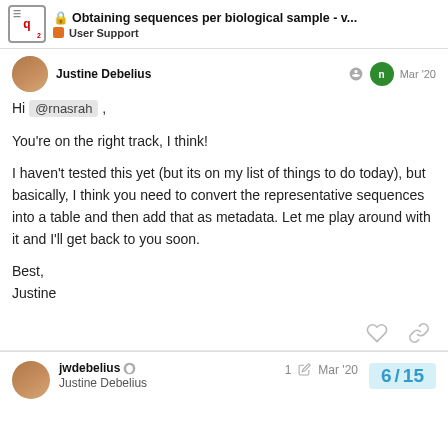Obtaining sequences per biological sample - v... | User Support
Justine Debelius — Mar '20
Hi @rnasrah ,

You're on the right track, I think!

I haven't tested this yet (but its on my list of things to do today), but basically, I think you need to convert the representative sequences into a table and then add that as metadata. Let me play around with it and I'll get back to you soon.

Best,
Justine
jwdebelius — Justine Debelius — 1 — Mar '20 — 6 / 15